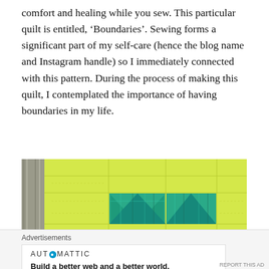comfort and healing while you sew. This particular quilt is entitled, ‘Boundaries’. Sewing forms a significant part of my self-care (hence the blog name and Instagram handle) so I immediately connected with this pattern. During the process of making this quilt, I contemplated the importance of having boundaries in my life.
[Figure (photo): Close-up photograph of a quilt featuring bright yellow fabric with teal/turquoise and purple patterned fabric pieces arranged in a geometric pattern, showing quilting stitches on a wooden surface background.]
Advertisements
AUTOMATTIC
Build a better web and a better world.